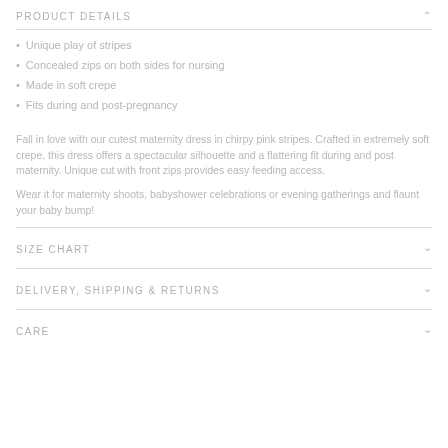PRODUCT DETAILS
Unique play of stripes
Concealed zips on both sides for nursing
Made in soft crepe
Fits during and post-pregnancy
Fall in love with our cutest maternity dress in chirpy pink stripes. Crafted in extremely soft crepe, this dress offers a spectacular silhouette and a flattering fit during and post maternity. Unique cut with front zips provides easy feeding access.
Wear it for maternity shoots, babyshower celebrations or evening gatherings and flaunt your baby bump!
SIZE CHART
DELIVERY, SHIPPING & RETURNS
CARE